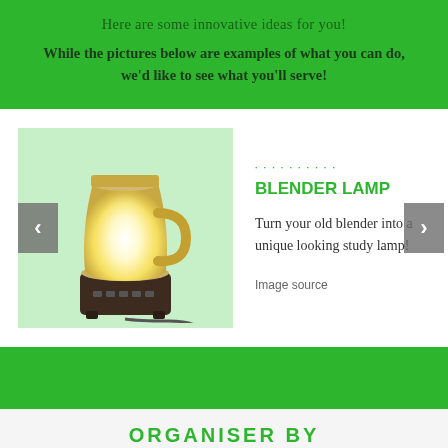Here are some innovative ideas for you!
While the pictures below are examples of what you can do, we'd like to see what you'll serve!
[Figure (photo): A blender converted into a glowing lamp — the blender jar is illuminated from within with warm yellow-white light, sitting on a dark base with control buttons, with a cord visible. Set against a light green background.]
BLENDER LAMP
Turn your old blender into a unique looking study lamp!
Image source
ORGANISER BY